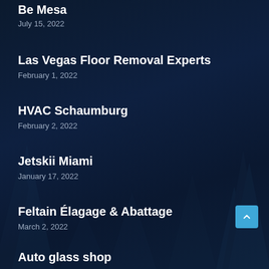Be Mesa
July 15, 2022
Las Vegas Floor Removal Experts
February 1, 2022
HVAC Schaumburg
February 2, 2022
Jetskii Miami
January 17, 2022
Feltain Élagage & Abattage
March 2, 2022
Auto glass shop